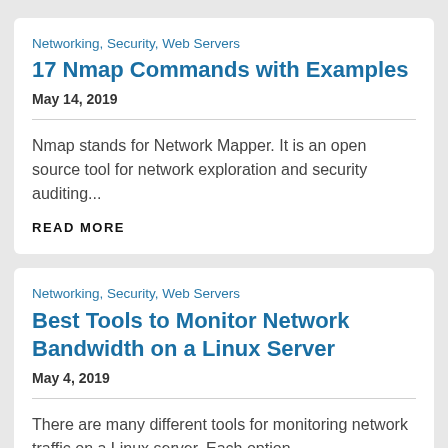Networking, Security, Web Servers
17 Nmap Commands with Examples
May 14, 2019
Nmap stands for Network Mapper. It is an open source tool for network exploration and security auditing...
READ MORE
Networking, Security, Web Servers
Best Tools to Monitor Network Bandwidth on a Linux Server
May 4, 2019
There are many different tools for monitoring network traffic on a Linux server. Each option